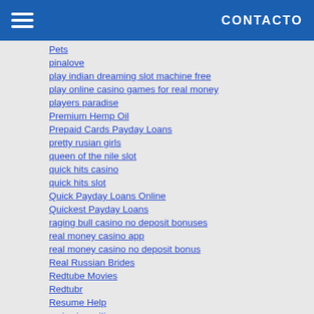CONTACTO
Pets
pinalove
play indian dreaming slot machine free
play online casino games for real money
players paradise
Premium Hemp Oil
Prepaid Cards Payday Loans
pretty rusian girls
queen of the nile slot
quick hits casino
quick hits slot
Quick Payday Loans Online
Quickest Payday Loans
raging bull casino no deposit bonuses
real money casino app
real money casino no deposit bonus
Real Russian Brides
Redtube Movies
Redtubr
Resume Help
reviewingwriting
reviewingwriting.com